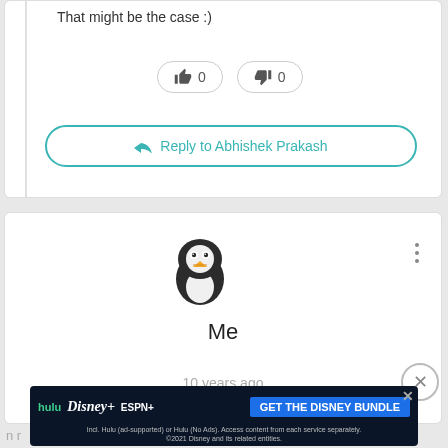That might be the case :)
[Figure (screenshot): Like (thumbs up) button with count 0 and dislike (thumbs down) button with count 0]
Reply to Abhishek Prakash
[Figure (illustration): Penguin avatar icon (black and white penguin with orange beak)]
Me
10 years ago
[Figure (screenshot): Advertisement banner: hulu Disney+ ESPN+ GET THE DISNEY BUNDLE. Incl. Hulu (ad-supported) or Hulu (No Ads). Access content from each service separately. ©2021 Disney and its related entities.]